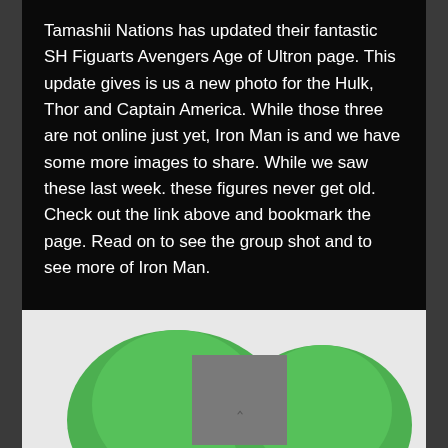Tamashii Nations has updated their fantastic SH Figuarts Avengers Age of Ultron page. This update gives is us a new photo for the Hulk, Thor and Captain America. While those three are not online just yet, Iron Man is and we have some more images to share. While we saw these last week. these figures never get old. Check out the link above and bookmark the page. Read on to see the group shot and to see more of Iron Man.
Read More →
[Figure (photo): Green rounded figure/toy partially visible at bottom of page on light grey background, with a small grey square partially overlapping]